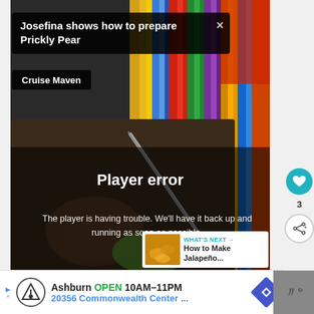[Figure (screenshot): Video player screenshot showing a cooking video 'Josefina shows how to prepare Prickly Pear' from Cruise Maven channel, with a player error message overlay. Background shows colorful striped blanket and hands cutting a cactus pad on a dark cutting board. Error message reads 'Player error - The player is having trouble. We'll have it back up and running as soon as possible.' A 'What's Next' panel shows 'How to Make Jalapeño...' thumbnail.]
Josefina shows how to prepare Prickly Pear
Cruise Maven
Player error
The player is having trouble. We'll have it back up and running as soon as possible.
WHAT'S NEXT → How to Make Jalapeño...
3
Ashburn OPEN 10AM–11PM 20356 Commonwealth Center ...